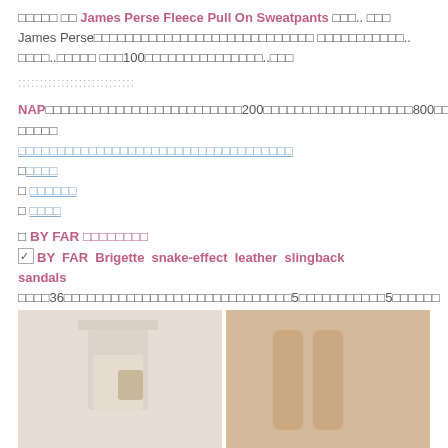□□□□□ □□ James Perse Fleece Pull On Sweatpants □□□.. □□□ James Perse□□□□□□□□□□□□□□□□□□□□□□□□□□□□ □□□□□□□□□□□.. □□□□..□□□□□ □□□100□□□□□□□□□□□□□□□..□□□
:::::::::::::::::::::::::::
NAP□□□□□□□□□□□□□□□□□□□□□□□□□200□□□□□□□□□□□□□□□□□□□800□□□□□□□□□□□ □□□□□ □□□□□□□□□□□□□□□□□□□□□□□□□□□□□□□□□□□ □□□□ □ □□□□□□ □ □□□□
□ BY FAR □□□□□□□□
☑ BY FAR Brigette snake-effect leather slingback sandals □□□□36□□□□□□□□□□□□□□□□□□□□□□□□□□□□□5□□□□□□□□□□□5□□□□□□
[Figure (photo): Two photos side by side showing fashion items - left photo shows a person holding a bag wearing light-colored shorts/skirt, right photo shows legs/feet area]